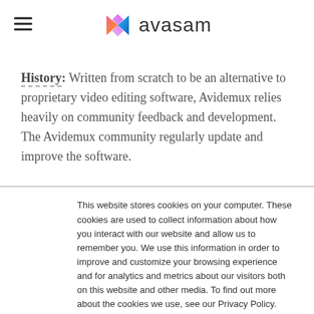[Figure (logo): Avasam logo with colorful shield/bowtie icon and text 'avasam']
History: Written from scratch to be an alternative to proprietary video editing software, Avidemux relies heavily on community feedback and development. The Avidemux community regularly update and improve the software.
This website stores cookies on your computer. These cookies are used to collect information about how you interact with our website and allow us to remember you. We use this information in order to improve and customize your browsing experience and for analytics and metrics about our visitors both on this website and other media. To find out more about the cookies we use, see our Privacy Policy.

If you accept, you are consenting to accept the cookies on this website.